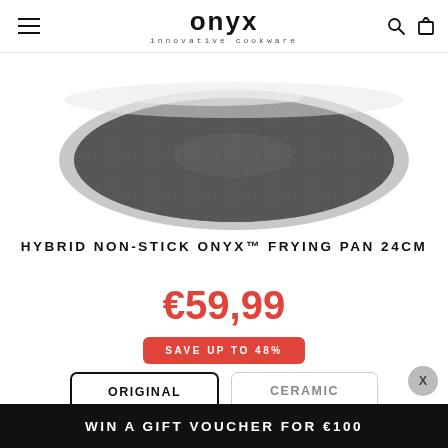onyx innovative cookware
[Figure (photo): Top-down view of a silver non-stick frying pan with dark speckled interior coating, partially cropped]
HYBRID NON-STICK ONYX™ FRYING PAN 24CM
€59,99
SAVE UP TO 48%
ORIGINAL
CERAMIC
WIN A GIFT VOUCHER FOR €100